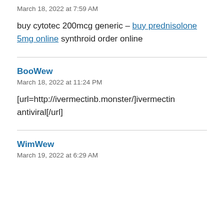March 18, 2022 at 7:59 AM
buy cytotec 200mcg generic – buy prednisolone 5mg online synthroid order online
BooWew
March 18, 2022 at 11:24 PM
[url=http://ivermectinb.monster/]ivermectin antiviral[/url]
WimWew
March 19, 2022 at 6:29 AM